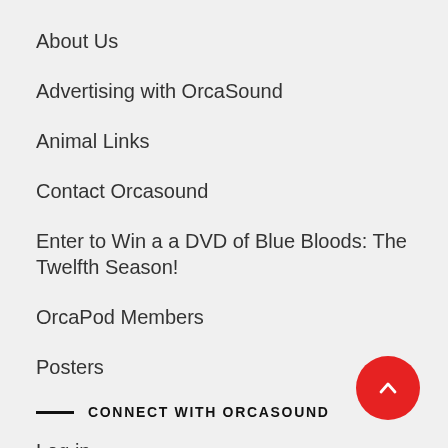About Us
Advertising with OrcaSound
Animal Links
Contact Orcasound
Enter to Win a a DVD of Blue Bloods: The Twelfth Season!
OrcaPod Members
Posters
CONNECT WITH ORCASOUND
Log in